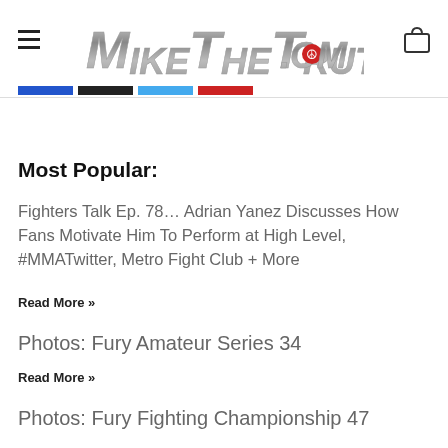MikeTheTruth.com
Most Popular:
Fighters Talk Ep. 78… Adrian Yanez Discusses How Fans Motivate Him To Perform at High Level, #MMATwitter, Metro Fight Club + More
Read More »
Photos: Fury Amateur Series 34
Read More »
Photos: Fury Fighting Championship 47